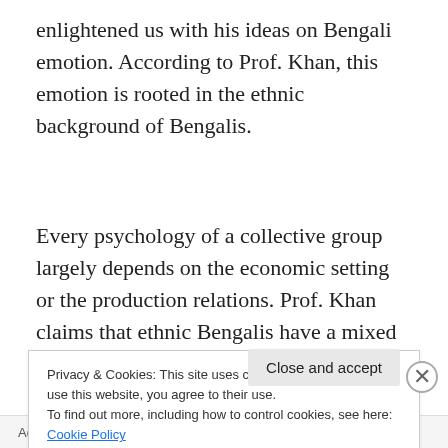enlightened us with his ideas on Bengali emotion. According to Prof. Khan, this emotion is rooted in the ethnic background of Bengalis.
Every psychology of a collective group largely depends on the economic setting or the production relations. Prof. Khan claims that ethnic Bengalis have a mixed background, though their race is most prominently
Privacy & Cookies: This site uses cookies. By continuing to use this website, you agree to their use.
To find out more, including how to control cookies, see here: Cookie Policy
Close and accept
Advertisements